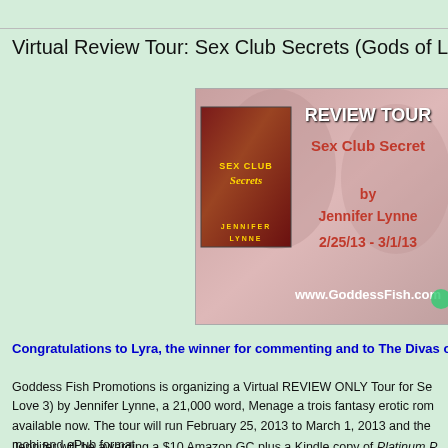Virtual Review Tour: Sex Club Secrets (Gods of Love 3
[Figure (illustration): Review Tour banner for Sex Club Secrets by Jennifer Lynne, 2/25/13 - 3/1/13, www.GoddessFish.com, featuring book cover and background figures]
Congratulations to Lyra, the winner for commenting and to The Divas o
Goddess Fish Promotions is organizing a Virtual REVIEW ONLY Tour for Sex Club Secrets (Gods of Love 3) by Jennifer Lynne, a 21,000 word, Menage a trois fantasy erotic rom available now. The tour will run February 25, 2013 to March 1, 2013 and the mobi and ePub format.
Jennifer will be awarding a $10 Amazon GC plus a Kindle copy of Platinum P